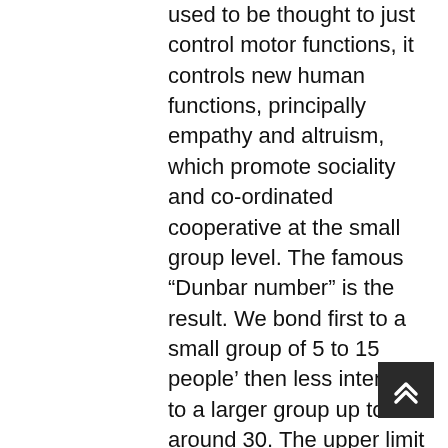used to be thought to just control motor functions, it controls new human functions, principally empathy and altruism, which promote sociality and co-ordinated cooperative at the small group level. The famous “Dunbar number” is the result. We bond first to a small group of 5 to 15 people’ then less intensely to a larger group up to around 30. The upper limit is about 150. But modern human societies are much larger than 150. They are, in essence, “hive cultures” (as EO Wilson says). As “dominance” cultures, they control through violence (as in Pinker’s theories). I wrote a book on this. https://www.amazon.com/Ageing-Young-Youre-Never-Rock-ebook/dp/B08T9G1YR4/ref=sr_1_22